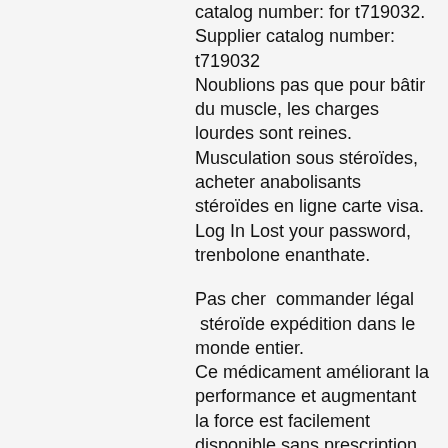catalog number: for t719032. Supplier catalog number: t719032 Noublions pas que pour bâtir du muscle, les charges lourdes sont reines. Musculation sous stéroïdes, acheter anabolisants stéroïdes en ligne carte visa. Log In Lost your password, trenbolone enanthate.
Pas cher  commander légal  stéroïde expédition dans le monde entier. Ce médicament améliorant la performance et augmentant la force est facilement disponible sans prescription dans de nombreux pays dasie, là ou il est produit, clenbuterol effects on humans. DianaGen est un ancien nom de marque de Ciba Pharmaceuticals pour le stéroïde oral Methandrostenolone. En plus de cela, la synthèse des protéines dans vos muscles augmentera. Laugmentation de la synthèse des protéines entraînera alors la croissance et la repousse de votre masse musculaire